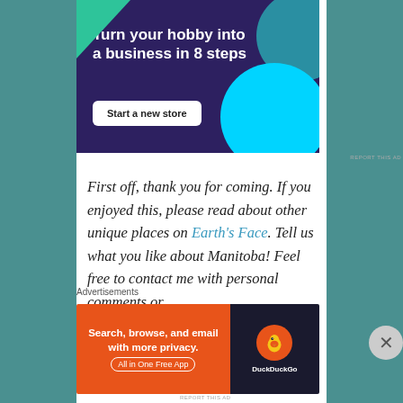[Figure (illustration): Advertisement banner with dark purple background, green triangle top-left, teal/cyan circles top-right and bottom-right. White bold text: 'Turn your hobby into a business in 8 steps'. White 'Start a new store' button.]
REPORT THIS AD
First off, thank you for coming. If you enjoyed this, please read about other unique places on Earth's Face. Tell us what you like about Manitoba! Feel free to contact me with personal comments or
Advertisements
[Figure (illustration): DuckDuckGo advertisement banner. Orange left section with text 'Search, browse, and email with more privacy.' and 'All in One Free App' pill button. Dark right section with DuckDuckGo duck logo and 'DuckDuckGo' text.]
REPORT THIS AD